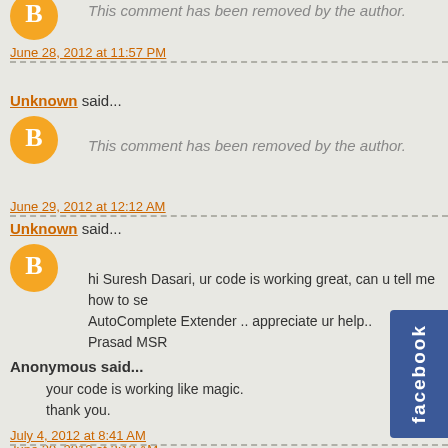This comment has been removed by the author.
June 28, 2012 at 11:57 PM
Unknown said...
This comment has been removed by the author.
June 29, 2012 at 12:12 AM
Unknown said...
hi Suresh Dasari, ur code is working great, can u tell me how to se AutoComplete Extender .. appreciate ur help.. Prasad MSR
June 29, 2012 at 2:13 AM
Anonymous said...
your code is working like magic.
thank you.
July 4, 2012 at 8:41 AM
[Figure (logo): Facebook tab/widget on the right side of the page]